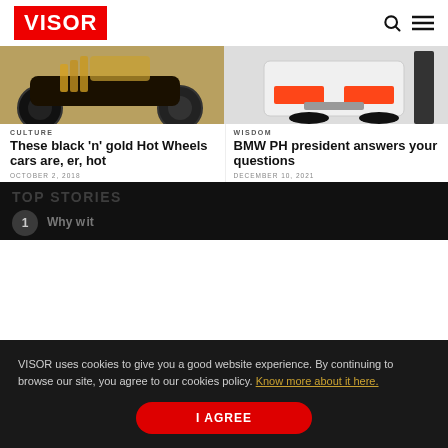VISOR
[Figure (photo): Two article images side by side: left shows black and gold Hot Wheels toy car, right shows rear of white BMW with orange brake lights]
CULTURE
These black 'n' gold Hot Wheels cars are, er, hot
OCTOBER 2, 2018
WISDOM
BMW PH president answers your questions
DECEMBER 10, 2021
VISOR uses cookies to give you a good website experience. By continuing to browse our site, you agree to our cookies policy. Know more about it here.
TOP STORIES
Why w... it